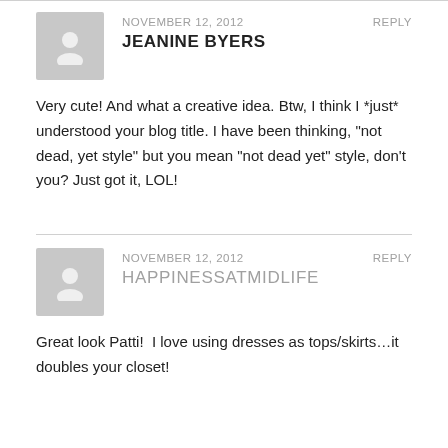NOVEMBER 12, 2012   REPLY
JEANINE BYERS
Very cute! And what a creative idea. Btw, I think I *just* understood your blog title. I have been thinking, "not dead, yet style" but you mean "not dead yet" style, don't you? Just got it, LOL!
NOVEMBER 12, 2012   REPLY
HAPPINESSATMIDLIFE
Great look Patti!  I love using dresses as tops/skirts…it doubles your closet!